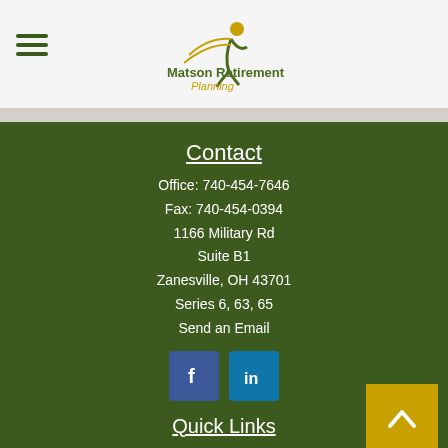[Figure (logo): Matson Retirement Planning logo with figure and text, dark olive/green and gold colors]
Contact
Office: 740-454-7646
Fax: 740-454-0394
1166 Military Rd
Suite B1
Zanesville, OH 43701
Series 6, 63, 65
Send an Email
[Figure (other): Facebook and LinkedIn social media icon buttons]
Quick Links
Retirement
Investment
True Tax Facts
Money